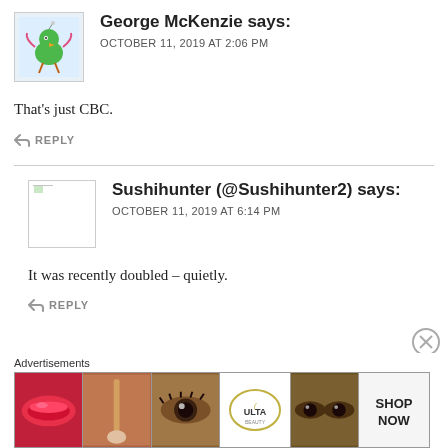George McKenzie says:
OCTOBER 11, 2019 AT 2:06 PM
That's just CBC.
↩ REPLY
Sushihunter (@Sushihunter2) says:
OCTOBER 11, 2019 AT 6:14 PM
It was recently doubled – quietly.
↩ REPLY
Advertisements
[Figure (illustration): Ad banner for ULTA beauty products showing makeup images, lips, brush, eye, ULTA logo, eye closeup, and SHOP NOW text]